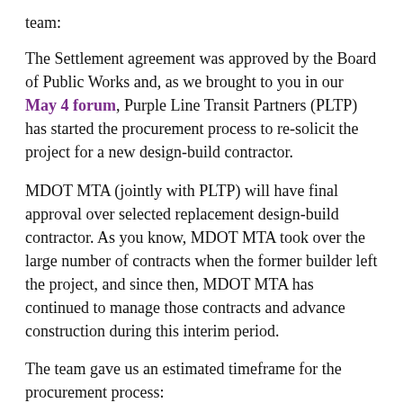team:
The Settlement agreement was approved by the Board of Public Works and, as we brought to you in our May 4 forum, Purple Line Transit Partners (PLTP) has started the procurement process to re-solicit the project for a new design-build contractor.
MDOT MTA (jointly with PLTP) will have final approval over selected replacement design-build contractor. As you know, MDOT MTA took over the large number of contracts when the former builder left the project, and since then, MDOT MTA has continued to manage those contracts and advance construction during this interim period.
The team gave us an estimated timeframe for the procurement process:
Issued Request for Qualifications - January 8, 2021
Received Statements of Qualifications - February